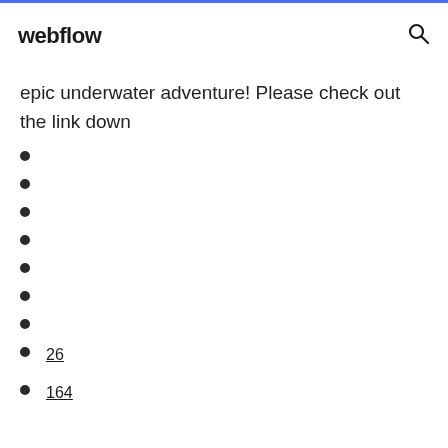webflow
epic underwater adventure! Please check out the link down
26
164